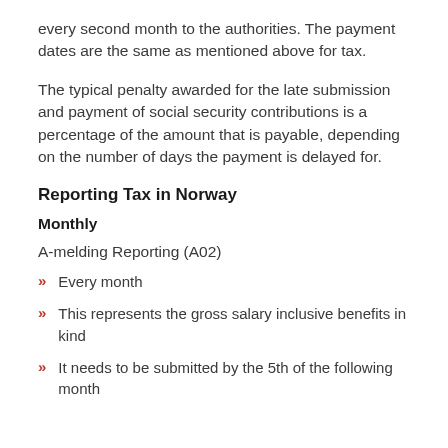every second month to the authorities. The payment dates are the same as mentioned above for tax.
The typical penalty awarded for the late submission and payment of social security contributions is a percentage of the amount that is payable, depending on the number of days the payment is delayed for.
Reporting Tax in Norway
Monthly
A-melding Reporting (A02)
Every month
This represents the gross salary inclusive benefits in kind
It needs to be submitted by the 5th of the following month